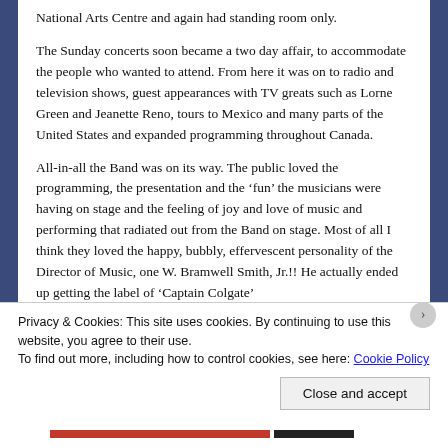National Arts Centre and again had standing room only. The Sunday concerts soon became a two day affair, to accommodate the people who wanted to attend. From here it was on to radio and television shows, guest appearances with TV greats such as Lorne Green and Jeanette Reno, tours to Mexico and many parts of the United States and expanded programming throughout Canada.
All-in-all the Band was on its way. The public loved the programming, the presentation and the ‘fun’ the musicians were having on stage and the feeling of joy and love of music and performing that radiated out from the Band on stage. Most of all I think they loved the happy, bubbly, effervescent personality of the Director of Music, one W. Bramwell Smith, Jr.!! He actually ended up getting the label of ‘Captain Colgate’
Privacy & Cookies: This site uses cookies. By continuing to use this website, you agree to their use.
To find out more, including how to control cookies, see here: Cookie Policy
Close and accept